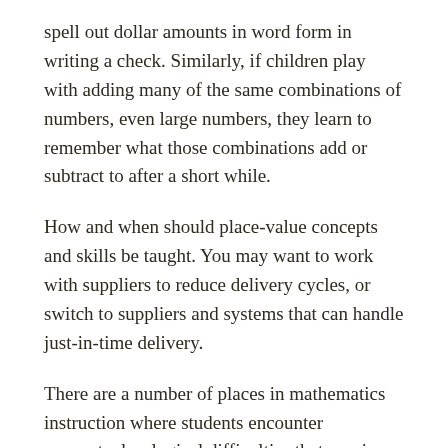spell out dollar amounts in word form in writing a check. Similarly, if children play with adding many of the same combinations of numbers, even large numbers, they learn to remember what those combinations add or subtract to after a short while.
How and when should place-value concepts and skills be taught. You may want to work with suppliers to reduce delivery cycles, or switch to suppliers and systems that can handle just-in-time delivery.
There are a number of places in mathematics instruction where students encounter conceptual or logical difficulties that require more than just practice. The Bureau of Labor Statistics anticipates the field of physical therapy to grow faster than average in the upcoming years.
Only one needs not, and should not, talk about